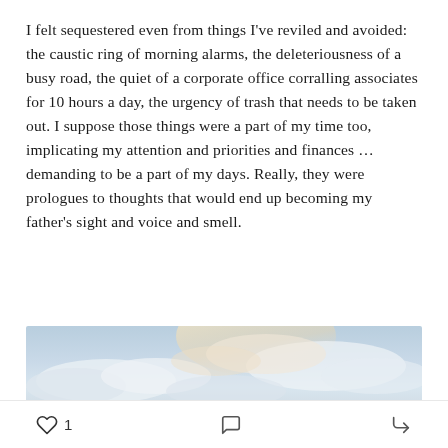I felt sequestered even from things I've reviled and avoided: the caustic ring of morning alarms, the deleteriousness of a busy road, the quiet of a corporate office corralling associates for 10 hours a day, the urgency of trash that needs to be taken out. I suppose those things were a part of my time too, implicating my attention and priorities and finances … demanding to be a part of my days. Really, they were prologues to thoughts that would end up becoming my father's sight and voice and smell.
[Figure (photo): A sky photo showing soft blue sky with white and light orange-tinted clouds, appearing as a peaceful outdoor scene.]
❤ 1  [comment icon]  [share icon]